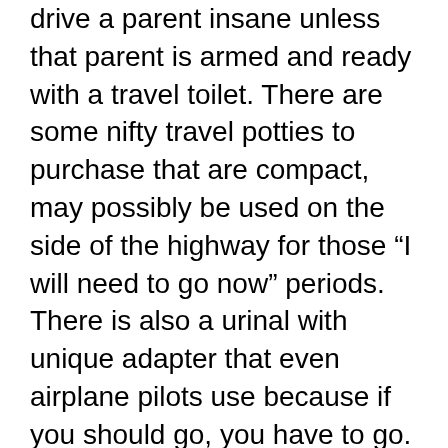drive a parent insane unless that parent is armed and ready with a travel toilet. There are some nifty travel potties to purchase that are compact, may possibly be used on the side of the highway for those “I will need to go now” periods. There is also a urinal with unique adapter that even airplane pilots use because if you should go, you have to go. I carry both travel potty and travel urinal in our car whenever you require.
Once we have brought you in into the massage room, please put your clothes where your therapist invites you you can. We walk around the table to have you and also want to Busan business trip massage over your clothes on the ground or always be waste time moving these people. Don’t